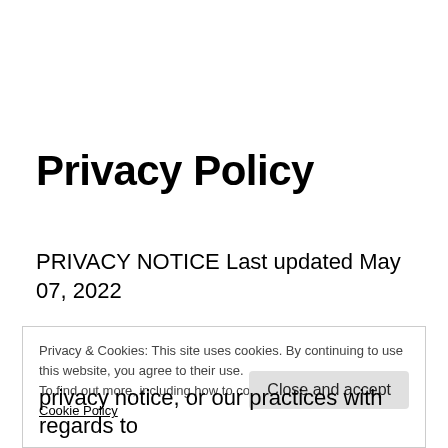Privacy Policy
PRIVACY NOTICE Last updated May 07, 2022
Privacy & Cookies: This site uses cookies. By continuing to use this website, you agree to their use.
To find out more, including how to control cookies, see here: Cookie Policy
Close and accept
privacy notice, or our practices with regards to